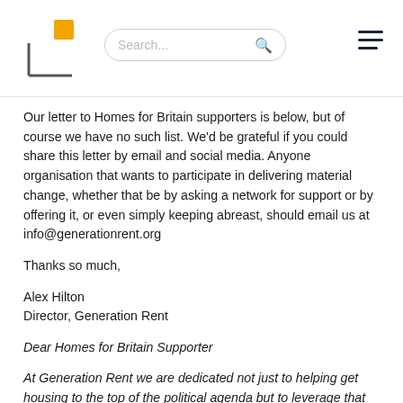Generation Rent logo, Search bar, hamburger menu
Our letter to Homes for Britain supporters is below, but of course we have no such list. We'd be grateful if you could share this letter by email and social media. Anyone organisation that wants to participate in delivering material change, whether that be by asking a network for support or by offering it, or even simply keeping abreast, should email us at info@generationrent.org
Thanks so much,
Alex Hilton
Director, Generation Rent
Dear Homes for Britain Supporter
At Generation Rent we are dedicated not just to helping get housing to the top of the political agenda but to leverage that into delivering real, positive and rapid change.
Today that meant that finally we were forced to leave the Homes for Britain campaign having failed to convince the steering group to adopt a strategy that met our goals, which we believe most of the HfB coalition partners share.